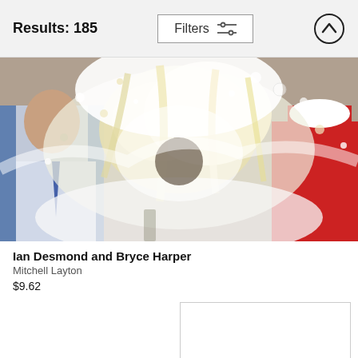Results: 185
[Figure (photo): Action sports photo of Ian Desmond and Bryce Harper being doused with a liquid celebration, water or sports drink splashing dramatically in the air. A man in a white dress shirt and tie is visible on the left, and a player in a red uniform is on the right.]
Ian Desmond and Bryce Harper
Mitchell Layton
$9.62
[Figure (photo): Partially visible second photo thumbnail, contents not visible.]